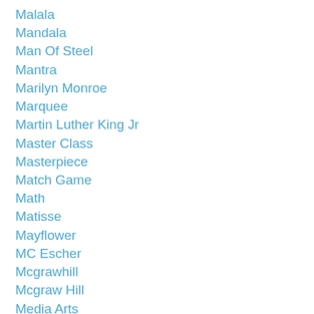Malala
Mandala
Man Of Steel
Mantra
Marilyn Monroe
Marquee
Martin Luther King Jr
Master Class
Masterpiece
Match Game
Math
Matisse
Mayflower
MC Escher
Mcgrawhill
Mcgraw Hill
Media Arts
Meme
Merge It
Metaphor
Michigan